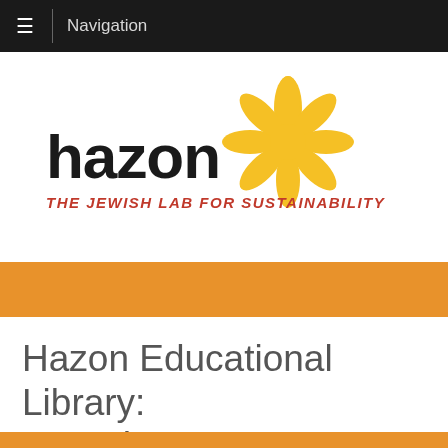Navigation
[Figure (logo): Hazon logo with sunflower graphic and tagline 'THE JEWISH LAB FOR SUSTAINABILITY']
Hazon Educational Library: Matzah